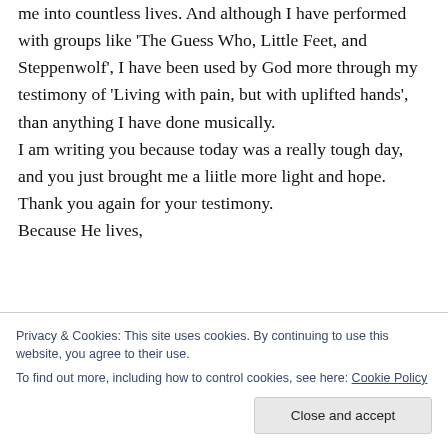me into countless lives. And although I have performed with groups like 'The Guess Who, Little Feet, and Steppenwolf', I have been used by God more through my testimony of 'Living with pain, but with uplifted hands', than anything I have done musically.
I am writing you because today was a really tough day, and you just brought me a liitle more light and hope.
Thank you again for your testimony.
Because He lives,
Privacy & Cookies: This site uses cookies. By continuing to use this website, you agree to their use.
To find out more, including how to control cookies, see here: Cookie Policy